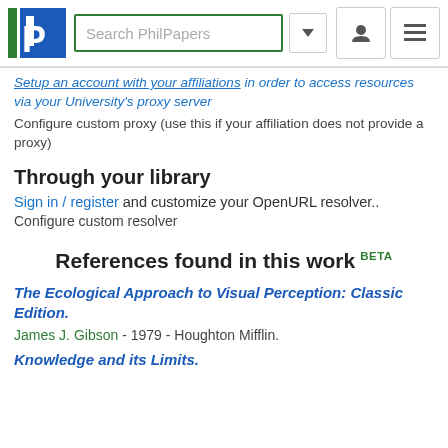Search PhilPapers
Setup an account with your affiliations in order to access resources via your University's proxy server
Configure custom proxy (use this if your affiliation does not provide a proxy)
Through your library
Sign in / register and customize your OpenURL resolver..
Configure custom resolver
References found in this work BETA
The Ecological Approach to Visual Perception: Classic Edition.
James J. Gibson - 1979 - Houghton Mifflin.
Knowledge and its Limits.